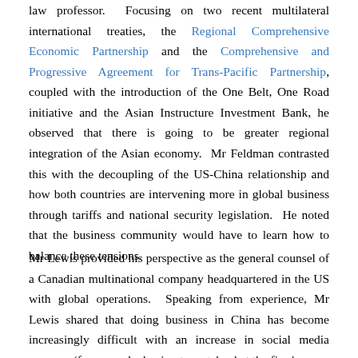law professor. Focusing on two recent multilateral international treaties, the Regional Comprehensive Economic Partnership and the Comprehensive and Progressive Agreement for Trans-Pacific Partnership, coupled with the introduction of the One Belt, One Road initiative and the Asian Instructure Investment Bank, he observed that there is going to be greater regional integration of the Asian economy. Mr Feldman contrasted this with the decoupling of the US-China relationship and how both countries are intervening more in global business through tariffs and national security legislation. He noted that the business community would have to learn how to balance these tensions.
Mr Lewis provided his perspective as the general counsel of a Canadian multinational company headquartered in the US with global operations. Speaking from experience, Mr Lewis shared that doing business in China has become increasingly difficult with an increase in social media pressure (for example, having to watch what the firm's